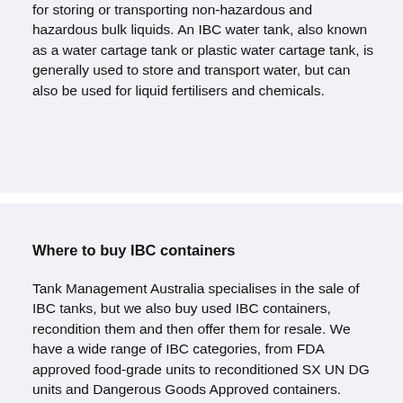for storing or transporting non-hazardous and hazardous bulk liquids. An IBC water tank, also known as a water cartage tank or plastic water cartage tank, is generally used to store and transport water, but can also be used for liquid fertilisers and chemicals.
Where to buy IBC containers
Tank Management Australia specialises in the sale of IBC tanks, but we also buy used IBC containers, recondition them and then offer them for resale. We have a wide range of IBC categories, from FDA approved food-grade units to reconditioned SX UN DG units and Dangerous Goods Approved containers. Knowing where to buy IBC containers